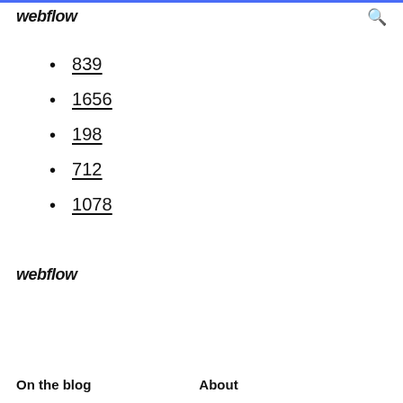webflow
839
1656
198
712
1078
webflow
On the blog   About